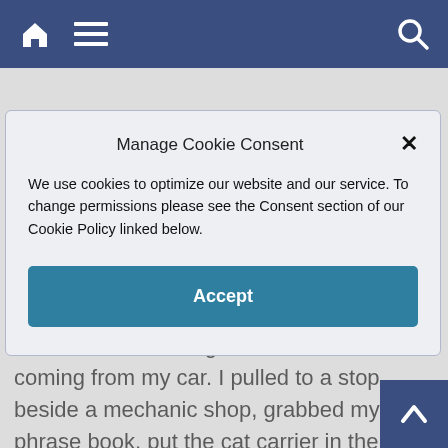Navigation bar with home, menu, and search icons
Manage Cookie Consent
We use cookies to optimize our website and our service. To change permissions please see the Consent section of our Cookie Policy linked below.
Accept
noon whistle blowing, until I realized it was coming from my car. I pulled to a stop beside a mechanic shop, grabbed my little phrase book, put the cat carrier in the shade, and began the most interesting 24 hours of my life.